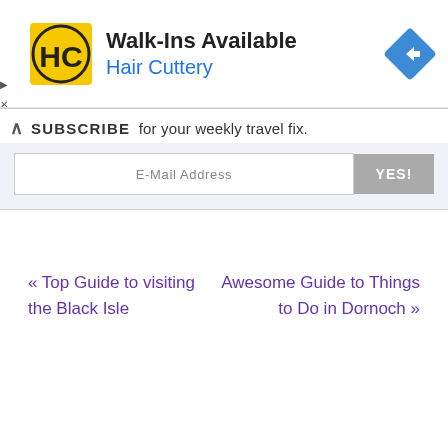[Figure (logo): Hair Cuttery advertisement banner with HC logo, 'Walk-Ins Available' headline, 'Hair Cuttery' subtitle in blue, and a blue diamond navigation icon on the right]
SUBSCRIBE for your weekly travel fix.
E-Mail Address  YES!
« Top Guide to visiting the Black Isle
Awesome Guide to Things to Do in Dornoch »